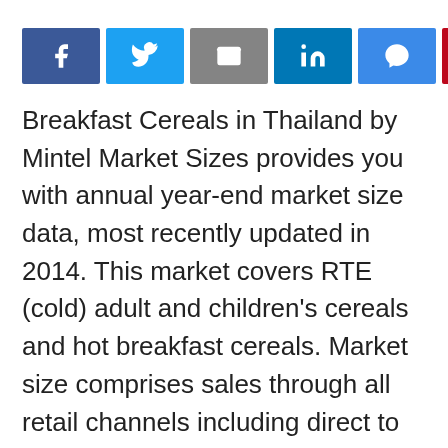[Figure (other): Social sharing buttons bar with icons for Facebook, Twitter, Email, LinkedIn, Messenger, Pinterest, Tumblr, Reddit, and ShareThis]
Breakfast Cereals in Thailand by Mintel Market Sizes provides you with annual year-end market size data, most recently updated in 2014. This market covers RTE (cold) adult and children's cereals and hot breakfast cereals. Market size comprises sales through all retail channels including direct to consumer. Market size for Breakfast Cereals in Thailand is given in THB and tonne with a minimum of five years' historical data. Market Forecast is provided for five years. Included with this snapshot is socio-economic data for Thailand. Population, Consumer Price Index (CPI), Gross Domestic Product (GDP), Exchange Rates